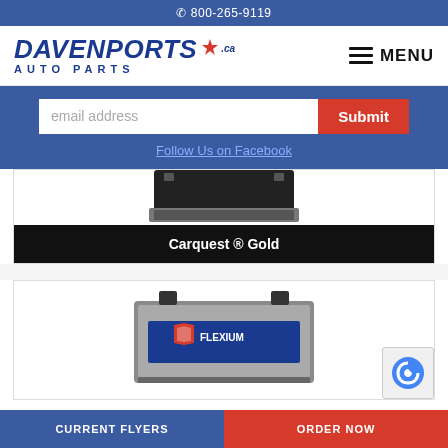📞 800-265-9119
[Figure (logo): Davenports Auto Parts logo with maple leaf, blue text, and MENU hamburger button]
email address
Submit
Follow Us on Facebook
[Figure (photo): Partial view of a car battery product (top portion cut off)]
Carquest ® Gold
[Figure (photo): Car battery product photo showing FLEXIUM branded battery]
CURRENT FLYERS    ORDER NOW